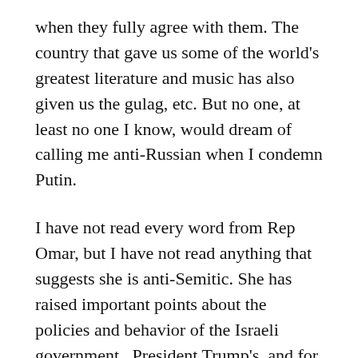when they fully agree with them. The country that gave us some of the world's greatest literature and music has also given us the gulag, etc. But no one, at least no one I know, would dream of calling me anti-Russian when I condemn Putin.
I have not read every word from Rep Omar, but I have not read anything that suggests she is anti-Semitic. She has raised important points about the policies and behavior of the Israeli government.  President Trump's, and for that matter his predecessors for many years, uncritical acceptance of Israel's outrageous treatment of the Palestinians in their charge, should be challenged. Those diverting the